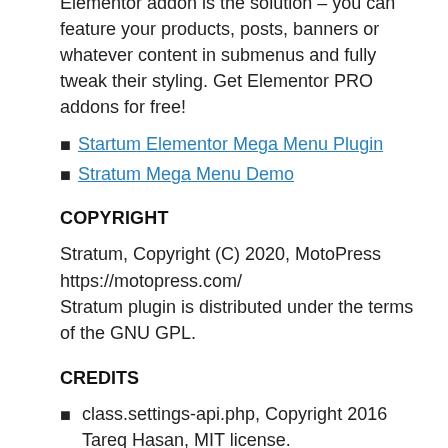Elementor addon is the solution – you can feature your products, posts, banners or whatever content in submenus and fully tweak their styling. Get Elementor PRO addons for free!
Startum Elementor Mega Menu Plugin
Stratum Mega Menu Demo
COPYRIGHT
Stratum, Copyright (C) 2020, MotoPress
https://motopress.com/
Stratum plugin is distributed under the terms of the GNU GPL.
CREDITS
class.settings-api.php, Copyright 2016 Tareq Hasan, MIT license.
CountUp.js, Copyright 2019 Jamie Perkins, MIT